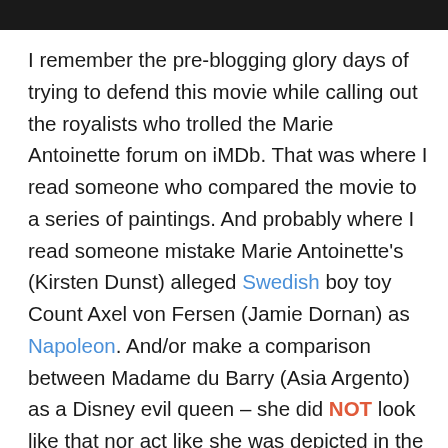[Figure (photo): Dark photograph strip at the top of the page, partially visible]
I remember the pre-blogging glory days of trying to defend this movie while calling out the royalists who trolled the Marie Antoinette forum on iMDb. That was where I read someone who compared the movie to a series of paintings. And probably where I read someone mistake Marie Antoinette's (Kirsten Dunst) alleged Swedish boy toy Count Axel von Fersen (Jamie Dornan) as Napoleon. And/or make a comparison between Madame du Barry (Asia Argento) as a Disney evil queen – she did NOT look like that nor act like she was depicted in the film, by the way. There are other directors who make a collage of pop culture references in their work. Those anonymous readings, however, show that Coppola isn't able to mold those separate images and/or incorporate them into what should be a believable and seamless biopic. I don't fully